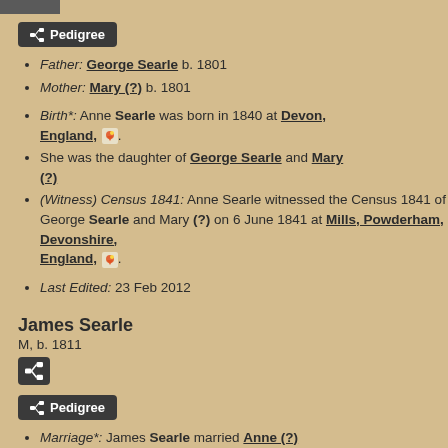Father: George Searle b. 1801
Mother: Mary (?) b. 1801
Birth*: Anne Searle was born in 1840 at Devon, England, [map icon].
She was the daughter of George Searle and Mary (?)
(Witness) Census 1841: Anne Searle witnessed the Census 1841 of George Searle and Mary (?) on 6 June 1841 at Mills, Powderham, Devonshire, England, [map icon].
Last Edited: 23 Feb 2012
James Searle
M, b. 1811
Marriage*: James Searle married Anne (?)